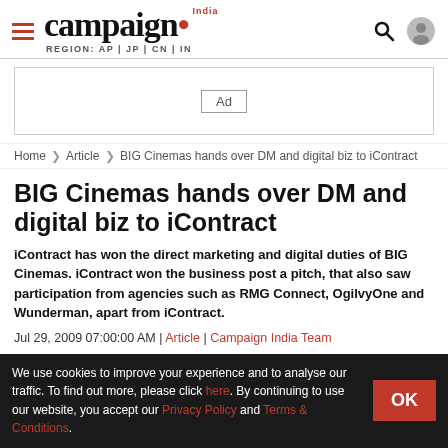campaign India — REGION: AP | JP | CN | IN
[Figure (other): Advertisement placeholder box with 'Ad' label]
Home > Article > BIG Cinemas hands over DM and digital biz to iContract
BIG Cinemas hands over DM and digital biz to iContract
iContract has won the direct marketing and digital duties of BIG Cinemas. iContract won the business post a pitch, that also saw participation from agencies such as RMG Connect, OgilvyOne and Wunderman, apart from iContract.
Jul 29, 2009 07:00:00 AM | Article | Campaign India Team
We use cookies to improve your experience and to analyse our traffic. To find out more, please click here. By continuing to use our website, you accept our Privacy Policy and Terms & Conditions.